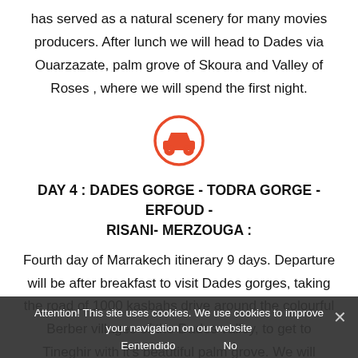has served as a natural scenery for many movies producers. After lunch we will head to Dades via Ouarzazate, palm grove of Skoura and Valley of Roses , where we will spend the first night.
[Figure (illustration): Orange circle with a small orange car icon inside, used as a section divider.]
DAY 4 : DADES GORGE - TODRA GORGE - ERFOUD - RISANI- MERZOUGA :
Fourth day of Marrakech itinerary 9 days. Departure will be after breakfast to visit Dades gorges, taking the road of 1000 kasbahs drive around the colourful Berber villages of the Dades valley, to get to Tineghir with it's beautiful palm grove. We will continue to the Gorge of Todgha , where we go on a trek along the canyons of about 300 m high, a preferred place of mountain climbers. Afterwards we will head to Erg chebbi dunes in
Attention! This site uses cookies. We use cookies to improve your navigation on our website
Eentendido	No